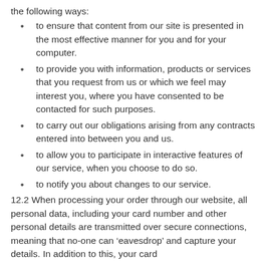the following ways:
to ensure that content from our site is presented in the most effective manner for you and for your computer.
to provide you with information, products or services that you request from us or which we feel may interest you, where you have consented to be contacted for such purposes.
to carry out our obligations arising from any contracts entered into between you and us.
to allow you to participate in interactive features of our service, when you choose to do so.
to notify you about changes to our service.
12.2 When processing your order through our website, all personal data, including your card number and other personal details are transmitted over secure connections, meaning that no-one can ‘eavesdrop’ and capture your details. In addition to this, your card